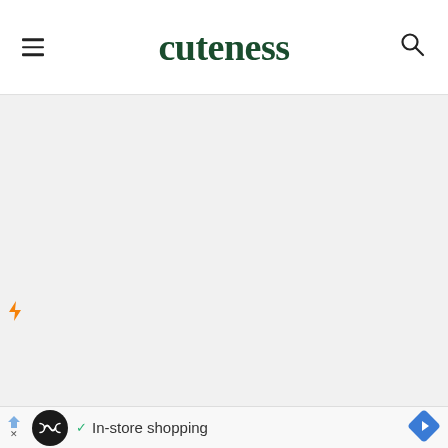cuteness
[Figure (other): Lightning bolt icon in orange on the left side of main content area]
[Figure (screenshot): Advertisement bar at the bottom showing a circular logo with infinity symbol, a checkmark, text 'In-store shopping', and a navigation diamond arrow icon]